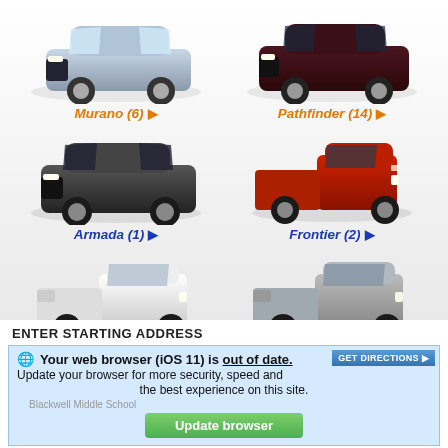[Figure (photo): Nissan Murano SUV in silver/blue color, front 3/4 view]
[Figure (photo): Nissan Pathfinder SUV in dark burgundy/brown color, front 3/4 view]
Murano (6) ▶
Pathfinder (14) ▶
[Figure (photo): Nissan Armada large SUV in dark gray/black color, front 3/4 view]
[Figure (photo): Nissan Frontier pickup truck in red color, front 3/4 view]
Armada (1) ▶
Frontier (2) ▶
[Figure (photo): Nissan Titan pickup truck in white color, front 3/4 view]
[Figure (photo): Nissan Titan Xd pickup truck in silver/gray color, front 3/4 view]
Titan (0) ▶
Titan Xd (1) ▶
ENTER STARTING ADDRESS
🌐 Your web browser (iOS 11) is out of date. Update your browser for more security, speed and the best experience on this site.
GET DIRECTIONS ▶
Blackwell Middle School
Update browser